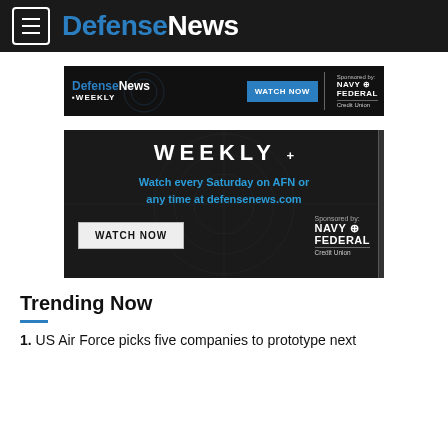DefenseNews
[Figure (screenshot): DefenseNews Weekly banner ad with Watch Now button and Navy Federal Credit Union sponsor logo on dark background]
[Figure (screenshot): DefenseNews Weekly video advertisement showing 'WEEKLY +' title, 'Watch every Saturday on AFN or any time at defensenews.com', Watch Now button, and Navy Federal Credit Union sponsor logo on dark background]
Trending Now
1. US Air Force picks five companies to prototype next